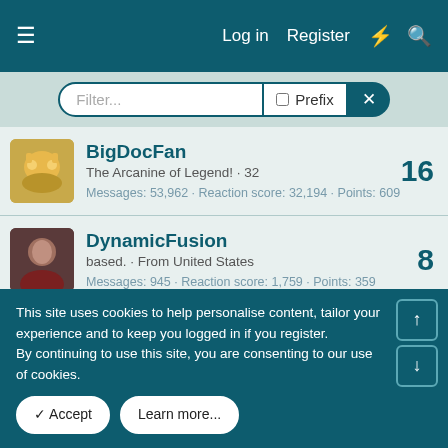Log in  Register
Filter...  Prefix
BigDocFan
The Arcanine of Legend! · 32
Messages: 53,962 · Reaction score: 32,194 · Points: 609
Score: 16
DynamicFusion
based. · From United States
Messages: 945 · Reaction score: 1,759 · Points: 359
Score: 8
ii kanji
Eternally misleading · From London
Messages: 9,647 · Reaction score: 10,402 · Points: 499
Score: 7
This site uses cookies to help personalise content, tailor your experience and to keep you logged in if you register.
By continuing to use this site, you are consenting to our use of cookies.
✓ Accept   Learn more...